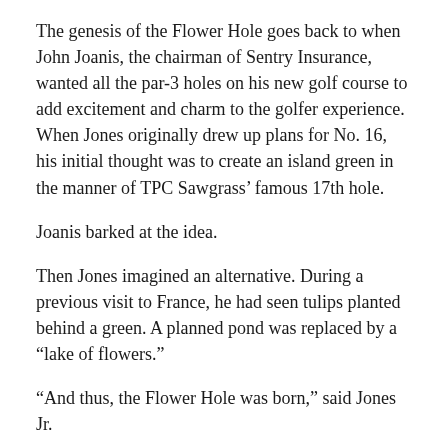The genesis of the Flower Hole goes back to when John Joanis, the chairman of Sentry Insurance, wanted all the par-3 holes on his new golf course to add excitement and charm to the golfer experience. When Jones originally drew up plans for No. 16, his initial thought was to create an island green in the manner of TPC Sawgrass’ famous 17th hole.
Joanis barked at the idea.
Then Jones imagined an alternative. During a previous visit to France, he had seen tulips planted behind a green. A planned pond was replaced by a “lake of flowers.”
“And thus, the Flower Hole was born,” said Jones Jr.
Of course, maintaining the foliage takes yeoman’s work. SentryWorld used to employ a horticulturist, but now Smith and two staff members are charged with keeping the scenery surrounding the green beautiful.